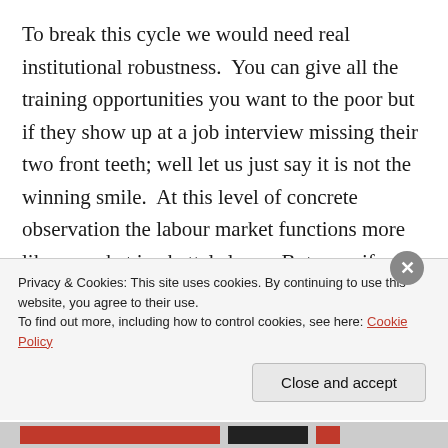To break this cycle we would need real institutional robustness.  You can give all the training opportunities you want to the poor but if they show up at a job interview missing their two front teeth; well let us just say it is not the winning smile.  At this level of concrete observation the labour market functions more like a market in chattel slaves. But even if we gave all these people a smile the labour market in which they are stuck would just change the vectors of
Privacy & Cookies: This site uses cookies. By continuing to use this website, you agree to their use.
To find out more, including how to control cookies, see here: Cookie Policy
Close and accept